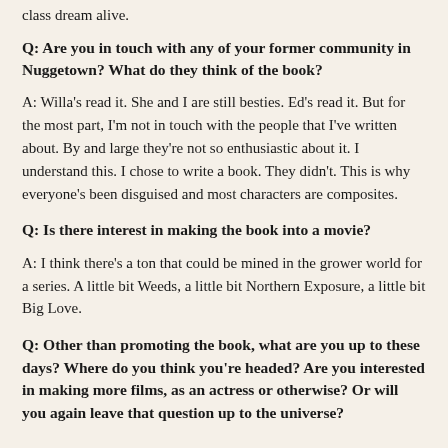class dream alive.
Q: Are you in touch with any of your former community in Nuggetown? What do they think of the book?
A: Willa's read it. She and I are still besties. Ed's read it. But for the most part, I'm not in touch with the people that I've written about. By and large they're not so enthusiastic about it. I understand this. I chose to write a book. They didn't. This is why everyone's been disguised and most characters are composites.
Q: Is there interest in making the book into a movie?
A: I think there's a ton that could be mined in the grower world for a series. A little bit Weeds, a little bit Northern Exposure, a little bit Big Love.
Q: Other than promoting the book, what are you up to these days? Where do you think you're headed? Are you interested in making more films, as an actress or otherwise? Or will you again leave that question up to the universe?